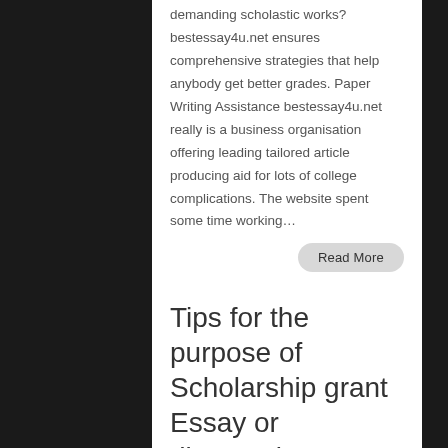demanding scholastic works? bestessay4u.net ensures comprehensive strategies that help anybody get better grades. Paper Writing Assistance bestessay4u.net really is a business organisation offering leading tailored article producing aid for lots of college complications. The website spent some time working…
Read More
Tips for the purpose of Scholarship grant Essay or dissertation Simply writing Essay Article writing ble…